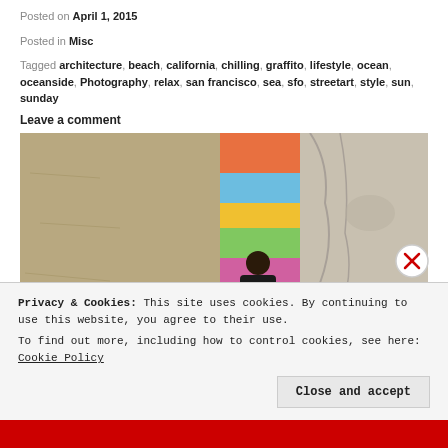Posted on April 1, 2015
Posted in Misc
Tagged architecture, beach, california, chilling, graffito, lifestyle, ocean, oceanside, Photography, relax, san francisco, sea, sfo, streetart, style, sun, sunday
Leave a comment
[Figure (photo): Aerial or angled view of a beach scene: sandy ground on the left, a person sitting against a colorful graffiti-painted wall in the center, and a large rocky surface on the right.]
Privacy & Cookies: This site uses cookies. By continuing to use this website, you agree to their use.
To find out more, including how to control cookies, see here: Cookie Policy